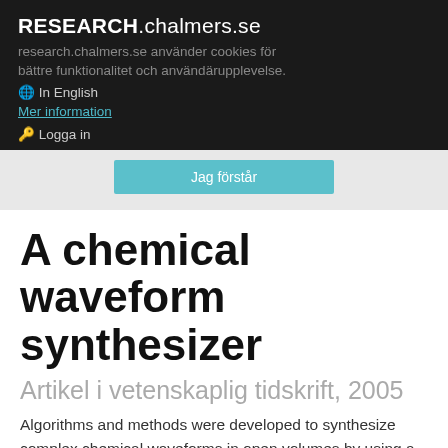RESEARCH.chalmers.se
research.chalmers.se använder cookies för bättre funktionalitet och användärupplevelse.
⊕ In English
Mer information
⊙ Logga in
Jag förstår
A chemical waveform synthesizer
Artikel i vetenskaplig tidskrift, 2005
Algorithms and methods were developed to synthesize complex chemical waveforms in open volumes by using a scanning-probe microfluidic platform. Time-dependent variations and oscillations of one or several chemical species, and the organization and conformation of